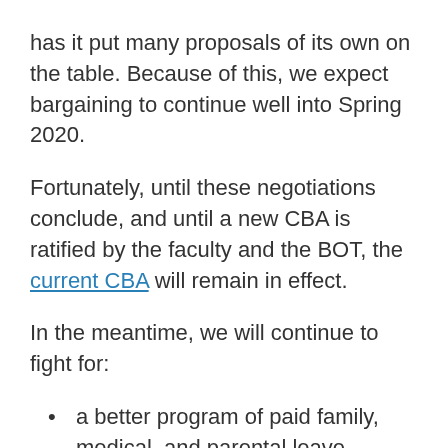has it put many proposals of its own on the table. Because of this, we expect bargaining to continue well into Spring 2020.
Fortunately, until these negotiations conclude, and until a new CBA is ratified by the faculty and the BOT, the current CBA will remain in effect.
In the meantime, we will continue to fight for:
a better program of paid family, medical, and parental leave
affordable childcare